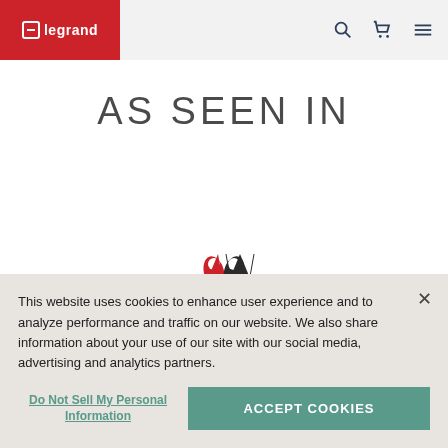[Figure (logo): Legrand logo in white on red background in top-left header area]
[Figure (illustration): Navigation icons: search magnifier, shopping cart, hamburger menu in top-right header area]
AS SEEN IN
[Figure (logo): Small red and dark logo mark (two curved shapes) centered in page]
This website uses cookies to enhance user experience and to analyze performance and traffic on our website. We also share information about your use of our site with our social media, advertising and analytics partners.
Do Not Sell My Personal Information
ACCEPT COOKIES